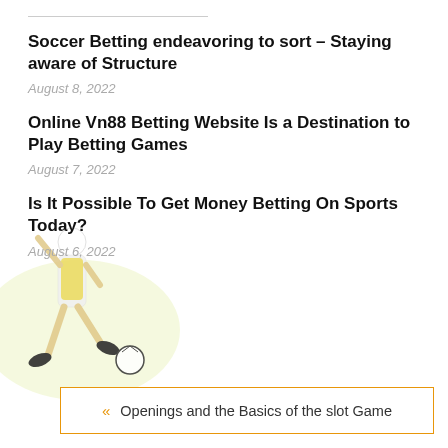Soccer Betting endeavoring to sort – Staying aware of Structure
August 8, 2022
Online Vn88 Betting Website Is a Destination to Play Betting Games
August 7, 2022
Is It Possible To Get Money Betting On Sports Today?
August 6, 2022
[Figure (illustration): Soccer player silhouette in yellow and white, kicking a ball, shown on the left side of the page]
« Openings and the Basics of the slot Game